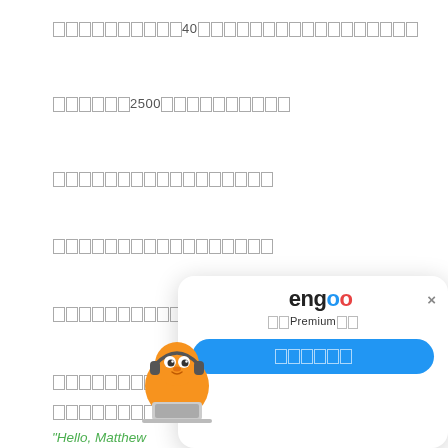[CJK text]40[CJK text]
[CJK text]2500[CJK text]
[CJK text]
[CJK text]
[CJK text]....
[CJK text]
[CJK text]
"Hello, Matthew..." (green text, partially visible)
[Figure (screenshot): Engoo Premium modal popup with mascot character, logo, subtitle text, and blue CTA button]